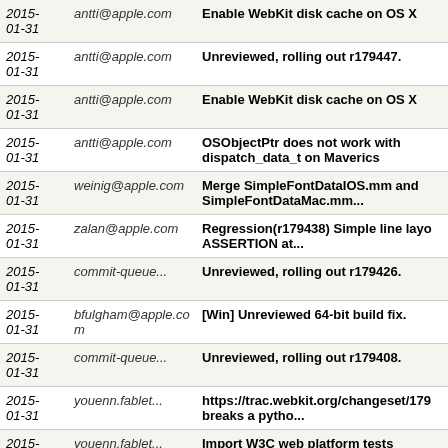| Date | Author | Message |
| --- | --- | --- |
| 2015-01-31 | antti@apple.com | Enable WebKit disk cache on OS X |
| 2015-01-31 | antti@apple.com | Unreviewed, rolling out r179447. |
| 2015-01-31 | antti@apple.com | Enable WebKit disk cache on OS X |
| 2015-01-31 | antti@apple.com | OSObjectPtr does not work with dispatch_data_t on Maverics |
| 2015-01-31 | weinig@apple.com | Merge SimpleFontDataIOS.mm and SimpleFontDataMac.mm... |
| 2015-01-31 | zalan@apple.com | Regression(r179438) Simple line layo ASSERTION at... |
| 2015-01-31 | commit-queue... | Unreviewed, rolling out r179426. |
| 2015-01-31 | bfulgham@apple.com | [Win] Unreviewed 64-bit build fix. |
| 2015-01-31 | commit-queue... | Unreviewed, rolling out r179408. |
| 2015-01-31 | youenn.fablet... | https://trac.webkit.org/changeset/179 breaks a pytho... |
| 2015-01-31 | youenn.fablet... | Import W3C web platform tests |